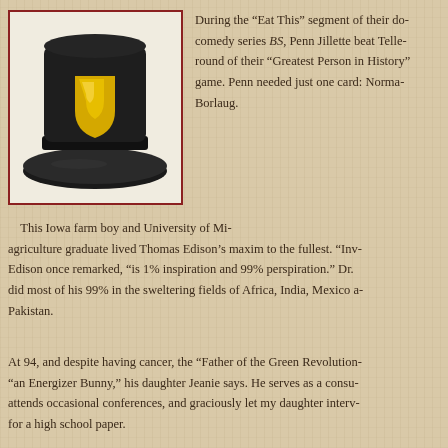[Figure (illustration): A black top hat with a yellow shield emblem on the front, illustrated style.]
During the “Eat This” segment of their documentary comedy series BS, Penn Jillette beat Teller in a round of their “Greatest Person in History” game. Penn needed just one card: Norman Borlaug.
This Iowa farm boy and University of Minnesota agriculture graduate lived Thomas Edison’s maxim to the fullest. “Invention,” Edison once remarked, “is 1% inspiration and 99% perspiration.” Dr. Borlaug did most of his 99% in the sweltering fields of Africa, India, Mexico and Pakistan.
At 94, and despite having cancer, the “Father of the Green Revolution” is “an Energizer Bunny,” his daughter Jeanie says. He serves as a consultant, attends occasional conferences, and graciously let my daughter interview him for a high school paper.